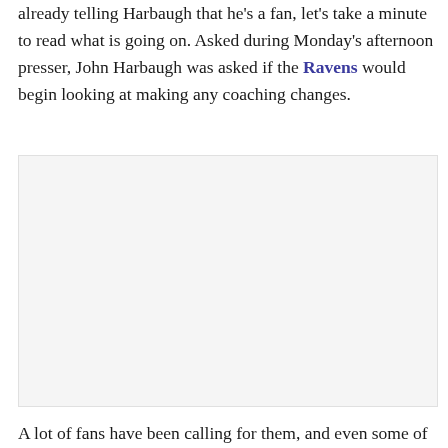already telling Harbaugh that he's a fan, let's take a minute to read what is going on. Asked during Monday's afternoon presser, John Harbaugh was asked if the Ravens would begin looking at making any coaching changes.
[Figure (other): Advertisement or embedded media placeholder box with light gray background]
A lot of fans have been calling for them, and even some of the writers here on Baltimore Beatdown have